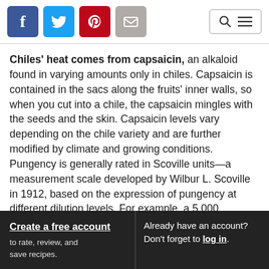[Social icons: Facebook, Twitter, Pinterest, Email] [Search/Menu]
Chiles' heat comes from capsaicin, an alkaloid found in varying amounts only in chiles. Capsaicin is contained in the sacs along the fruits' inner walls, so when you cut into a chile, the capsaicin mingles with the seeds and the skin. Capsaicin levels vary depending on the chile variety and are further modified by climate and growing conditions. Pungency is generally rated in Scoville units—a measurement scale developed by Wilbur L. Scoville in 1912, based on the expression of pungency at different dilution levels. For example, a 5,000
Create a free account
to rate, review, and save recipes.
Already have an account? Don't forget to log in.